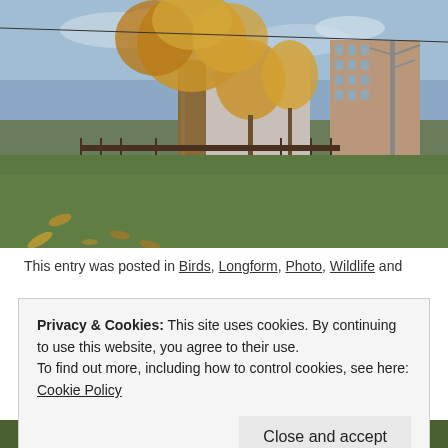[Figure (photo): Autumn park scene with trees showing golden leaves in the foreground, green grass lawn, and a multi-storey brick residential building in the background under a partly cloudy sky.]
This entry was posted in Birds, Longform, Photo, Wildlife and
Privacy & Cookies: This site uses cookies. By continuing to use this website, you agree to their use.
To find out more, including how to control cookies, see here: Cookie Policy
Close and accept
[Figure (photo): Bottom partial photo — vegetation and partial figures visible.]